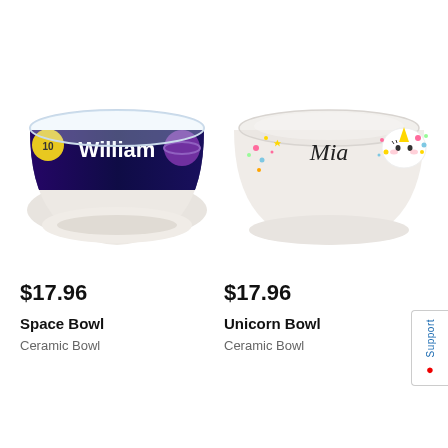[Figure (photo): Ceramic bowl with dark space/galaxy themed band showing 'William' in white text, with billiard balls and space imagery]
$17.96
Space Bowl
Ceramic Bowl
[Figure (photo): White ceramic bowl with unicorn and confetti design showing 'Mia' in script text]
$17.96
Unicorn Bowl
Ceramic Bowl